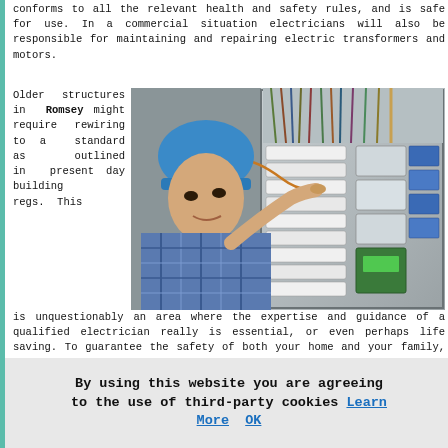conforms to all the relevant health and safety rules, and is safe for use. In a commercial situation electricians will also be responsible for maintaining and repairing electric transformers and motors.
Older structures in Romsey might require rewiring to a standard as outlined in present day building regs. This is unquestionably an area where the expertise and guidance of a qualified electrician really is essential, or even perhaps life saving. To guarantee the safety of both your home and your family, you should always seek the help of a fully qualified electrician whenever rewiring is needed. Whether your home is being renovated or refurbished, re-wiring will play a vital role in updating your family home
[Figure (photo): An electrician wearing a blue hard hat and plaid shirt working on an electrical panel with many wires and circuit breakers, using a probe tool.]
By using this website you are agreeing to the use of third-party cookies Learn More OK